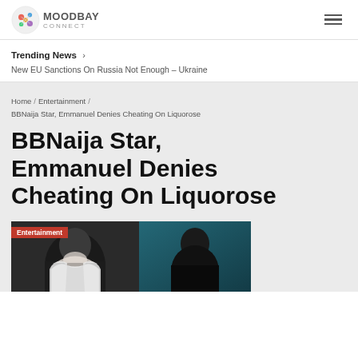MoodBay Connect
Trending News › New EU Sanctions On Russia Not Enough – Ukraine
Home / Entertainment / BBNaija Star, Emmanuel Denies Cheating On Liquorose
BBNaija Star, Emmanuel Denies Cheating On Liquorose
[Figure (photo): Split photo showing two people: a woman in white feathered outfit on the left, and a man in a dark setting on the right, with an 'Entertainment' tag overlay]